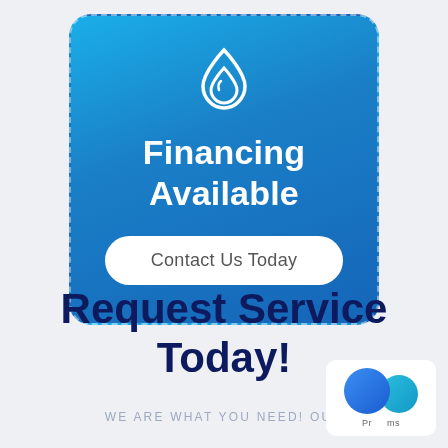[Figure (infographic): Blue gradient card with water/flame drop icon, text 'Financing Available', and a white pill button 'Contact Us Today' on a dashed border rounded rectangle]
Request Service Today!
WE ARE WHAT YOU NEED! OUR